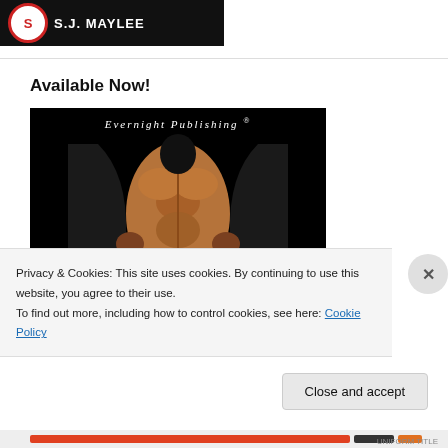[Figure (logo): Black banner with circular logo reading 'S' and author name 'S.J. MAYLEE' in white text]
Available Now!
[Figure (photo): Book cover from Evernight Publishing showing a muscular male torso in a black jacket, with partial title text 'UNIFORM' at the bottom]
Privacy & Cookies: This site uses cookies. By continuing to use this website, you agree to their use.
To find out more, including how to control cookies, see here: Cookie Policy
Close and accept